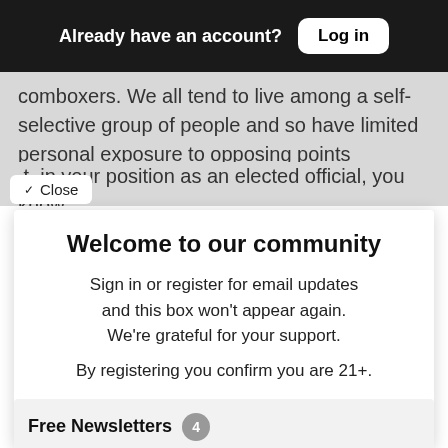Already have an account? Log in
comboxers.  We all tend to live among a self-selective group of people and so have limited personal exposure to opposing points of view. But, in your position as an elected official, you know…
Welcome to our community
Sign in or register for email updates and this box won't appear again. We're grateful for your support.
By registering you confirm you are 21+.
Free Newsletters 4
San Jose Inside Newsletter (weekly)
News and politics from the capital